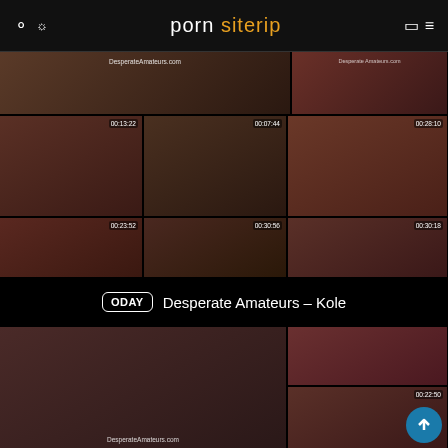porn siterip
[Figure (screenshot): Grid of video thumbnails from DesperateAmateurs.com showing multiple scenes with timestamps]
ODAY  Desperate Amateurs – Kole
[Figure (screenshot): Grid of video thumbnails from DesperateAmateurs.com with two columns showing scenes with timestamps]